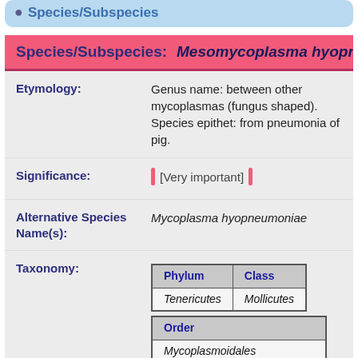Species/Subspecies
Species/Subspecies: Mesomycoplasma hyopneumo...
Etymology: Genus name: between other mycoplasmas (fungus shaped). Species epithet: from pneumonia of pig.
Significance: [Very important]
Alternative Species Name(s): Mycoplasma hyopneumoniae
| Phylum | Class |
| --- | --- |
| Tenericutes | Mollicutes |
| Order |
| --- |
| Mycoplasmoidales |
| Family |
| --- |
| Metamycoplasmataceae |